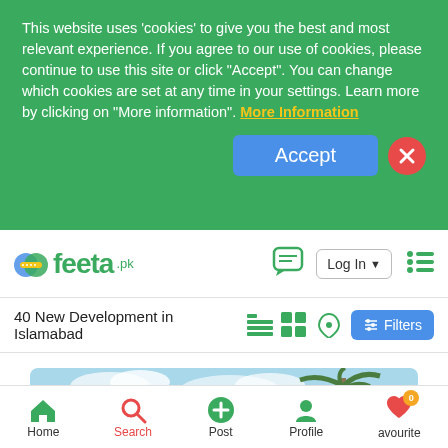This website uses 'cookies' to give you the best and most relevant experience. If you agree to our use of cookies, please continue to use this site or click "Accept". You can change which cookies are set at any time in your settings. Learn more by clicking on "More information". More Information
[Figure (screenshot): feeta.pk website navbar with logo, chat icon, Log In button, and hamburger menu]
40 New Development in Islamabad
[Figure (screenshot): View toggle icons (list, grid, map) and Filters button]
[Figure (photo): Property photo showing a building with a palm tree against a blue sky]
[Figure (screenshot): Bottom navigation bar with Home, Search, Post, Profile, and Favourite icons]